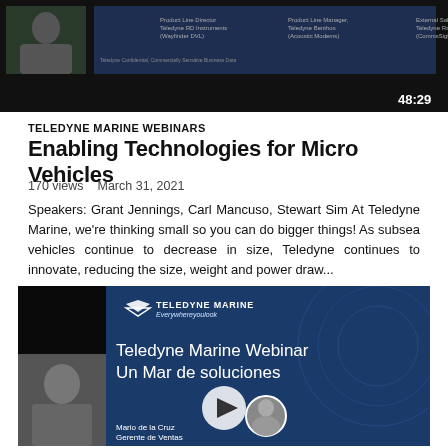[Figure (screenshot): Video thumbnail showing a webinar with a speaker in bottom-left and a slide presentation, timestamp 48:29 visible]
TELEDYNE MARINE WEBINARS
Enabling Technologies for Micro Vehicles
170 views   March 31, 2021
Speakers: Grant Jennings, Carl Mancuso, Stewart Sim At Teledyne Marine, we're thinking small so you can do bigger things! As subsea vehicles continue to decrease in size, Teledyne continues to innovate, reducing the size, weight and power draw...
[Figure (screenshot): Second video thumbnail showing Teledyne Marine Webinar 'Un Mar de soluciones' with speaker Mario de la Cruz, Gerente de Ventas, and a play button overlay]